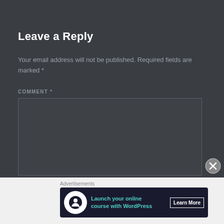Leave a Reply
Your email address will not be published. Required fields are marked *
COMMENT *
[Figure (screenshot): Empty comment text area input box with dark background and border]
[Figure (screenshot): Close button (X in circle) overlay]
Advertisements
[Figure (infographic): Advertisement banner: Launch your online course with WordPress - Learn More button, dark background with teal text and white circular icon]